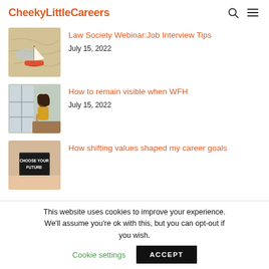CheekyLittleCareers
[Figure (photo): Small toy sailing boat on a map]
Law Society Webinar:Job Interview Tips
July 15, 2022
[Figure (photo): Young woman working from home by a window]
How to remain visible when WFH
July 15, 2022
[Figure (photo): Person holding a chalkboard sign saying CHOOSE YOUR FUTURE]
How shifting values shaped my career goals
This website uses cookies to improve your experience. We'll assume you're ok with this, but you can opt-out if you wish.